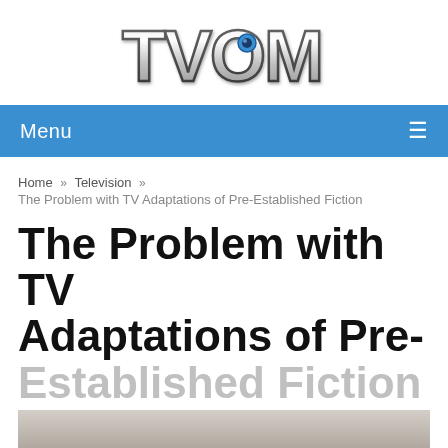[Figure (logo): TVOM logo with metallic 3D lettering in silver/chrome style with blue accents]
Menu ≡
Home » Television » The Problem with TV Adaptations of Pre-Established Fiction
The Problem with TV Adaptations of Pre-Established Fiction
[Figure (photo): Partial bottom image strip, appears to be a grey/muted photo, cut off at bottom of page]